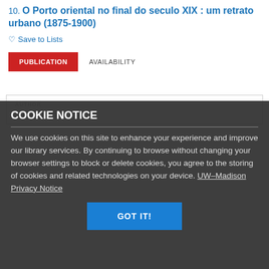10. O Porto oriental no final do seculo XIX : um retrato urbano (1875-1900)
Save to Lists
PUBLICATION | AVAILABILITY
AUTHOR
COOKIE NOTICE
We use cookies on this site to enhance your experience and improve our library services. By continuing to browse without changing your browser settings to block or delete cookies, you agree to the storing of cookies and related technologies on your device. UW–Madison Privacy Notice
GOT IT!